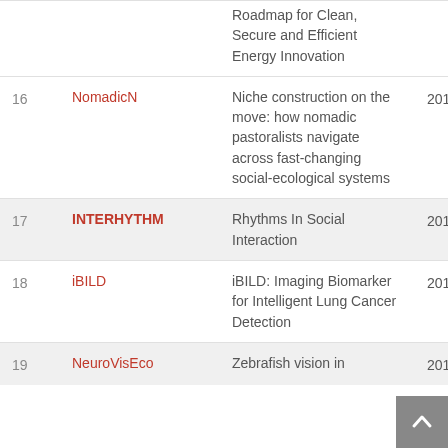| # | Project | Title | Year |
| --- | --- | --- | --- |
|  |  | Roadmap for Clean, Secure and Efficient Energy Innovation | 201… |
| 16 | NomadicN | Niche construction on the move: how nomadic pastoralists navigate across fast-changing social-ecological systems | 2016 |
| 17 | INTERHYTHM | Rhythms In Social Interaction | 2016 |
| 18 | iBILD | iBILD: Imaging Biomarker for Intelligent Lung Cancer Detection | 2016 |
| 19 | NeuroVisEco | Zebrafish vision in… | 201… |